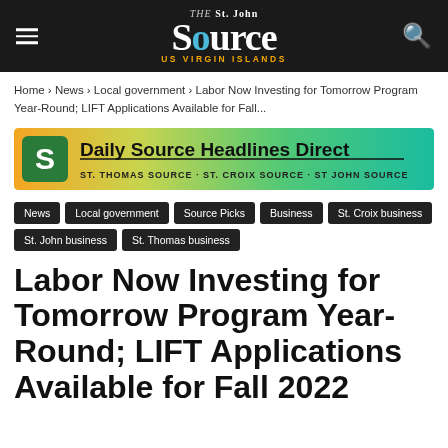The St. John Source — US Virgin Islands
Home › News › Local government › Labor Now Investing for Tomorrow Program Year-Round; LIFT Applications Available for Fall...
[Figure (other): Daily Source Headlines Direct advertisement banner with gradient background (orange to green). Shows S logo icon, bold text 'Daily Source Headlines Direct' with underline, and subtitle 'ST. THOMAS SOURCE · ST. CROIX SOURCE · ST JOHN SOURCE']
News
Local government
Source Picks
Business
St. Croix business
St. John business
St. Thomas business
Labor Now Investing for Tomorrow Program Year-Round; LIFT Applications Available for Fall 2022